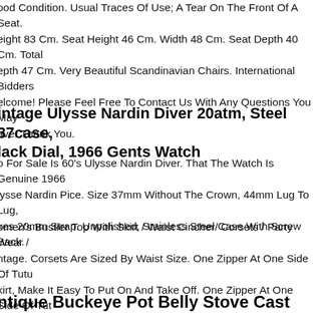ood Condition. Usual Traces Of Use; A Tear On The Front Of A Seat. eight 83 Cm. Seat Height 46 Cm. Width 48 Cm. Seat Depth 40 Cm. Total epth 47 Cm. Very Beautiful Scandinavian Chairs. International Bidders elcome! Please Feel Free To Contact Us With Any Questions You May ave. Thank You.
intage Ulysse Nardin Diver 20atm, Steel 37case, lack Dial, 1966 Gents Watch
o For Sale Is 60's Ulysse Nardin Diver. That The Watch Is Genuine 1966 lysse Nardin Pice. Size 37mm Without The Crown, 44mm Lug To Lug, kes 20mm Strap. Unpolished, Stainless Steel Case With Screw Back.
omen's Bustier Top With Skirt / Waist Cincher/ Corsets / Party Wear / ntage. Corsets Are Sized By Waist Size. One Zipper At One Side Of Tutu kirt, Make It Easy To Put On And Take Off. One Zipper At One Side Of Tut kirt, Make It Easy To Put On And Take Off. We Does Not Keep An Invento Leather Jackets.
ntique Buckeye Pot Belly Stove Cast Iron